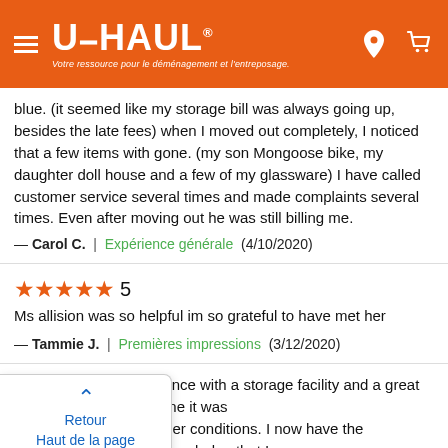U-HAUL — Votre ressource pour le déménagement et l'entreposage.
blue. (it seemed like my storage bill was always going up, besides the late fees) when I moved out completely, I noticed that a few items with gone. (my son Mongoose bike, my daughter doll house and a few of my glassware) I have called customer service several times and made complaints several times. Even after moving out he was still billing me.
— Carol C.  |  Expérience générale  (4/10/2020)
★★★★★ 5
Ms allision was so helpful im so grateful to have met her
— Tammie J.  |  Premières impressions  (3/12/2020)
Retour
Haut de la page
ience with a storage facility and a great one it was
ther conditions. I now have the knowledge that I need a climate controlled unit. Overall the staff was very helpful the